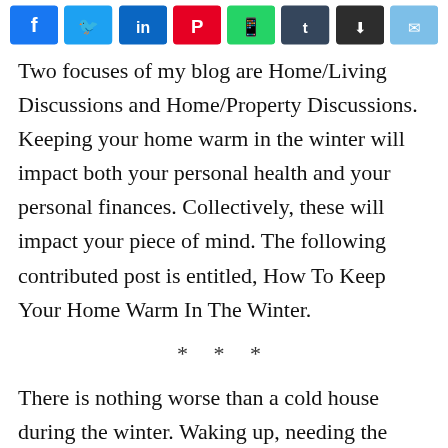[Figure (other): Row of social media share buttons: Facebook (blue), Twitter (light blue), LinkedIn (dark blue), Pinterest (red), WhatsApp (green), Tumblr (dark blue-grey), Reddit/save (dark), Email (light blue)]
Two focuses of my blog are Home/Living Discussions and Home/Property Discussions. Keeping your home warm in the winter will impact both your personal health and your personal finances. Collectively, these will impact your piece of mind. The following contributed post is entitled, How To Keep Your Home Warm In The Winter.
* * *
There is nothing worse than a cold house during the winter. Waking up, needing the toilet, and being afraid to get out of bed because of the biting cold. Those early morning